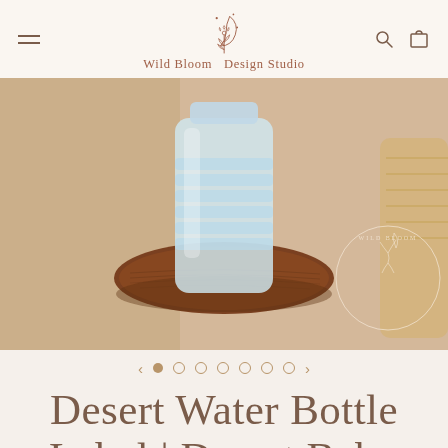Wild Bloom Design Studio — navigation header with hamburger menu, logo, search and cart icons
[Figure (photo): Close-up photo of a water bottle on a round wooden tray/coaster, on a warm beige background with a wicker object to the right. Wild Bloom Design Studio watermark visible bottom right.]
Desert Water Bottle Label | Desert Baby Shower